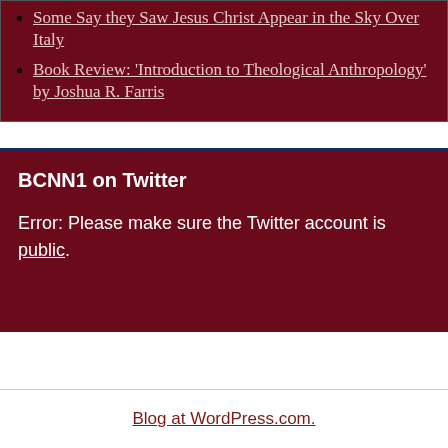Some Say they Saw Jesus Christ Appear in the Sky Over Italy
Book Review: 'Introduction to Theological Anthropology' by Joshua R. Farris
BCNN1 on Twitter
Error: Please make sure the Twitter account is public.
Blog at WordPress.com.